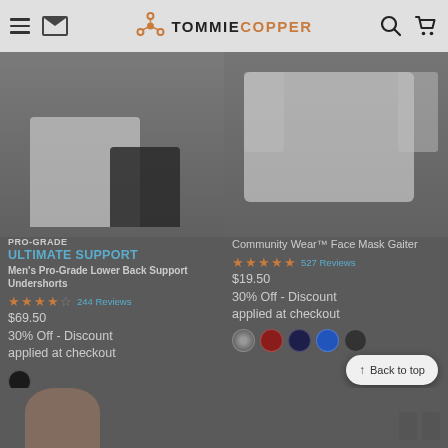Tommie Copper — navigation header with hamburger menu, mail icon, logo, search and cart icons
[Figure (photo): Left product image: Men's Pro-Grade Lower Back Support Undershorts, showing torso wearing white shorts and black compression shorts]
PRO-GRADE
ULTIMATE SUPPORT
Men's Pro-Grade Lower Back Support Undershorts
3.5 stars  244 Reviews
$69.50
30% Off - Discount applied at checkout
[Figure (photo): Right product image: Community Wear Face Mask Gaiter, showing person wearing a white compression shirt]
Community Wear™ Face Mask Gaiter
4.5 stars  527 Reviews
$19.50
30% Off - Discount applied at checkout
[Figure (photo): Bottom partial image: person's head/hair visible at bottom left, and small product icons at bottom right]